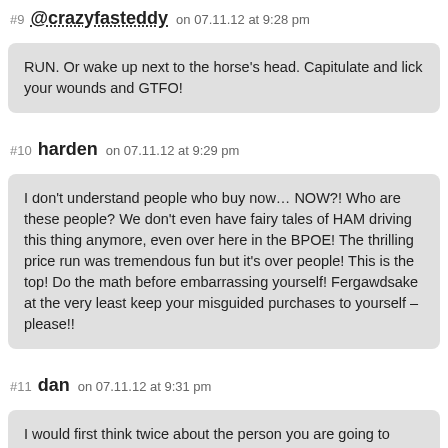#9 @crazyfasteddy on 07.11.12 at 9:28 pm
RUN. Or wake up next to the horse’s head. Capitulate and lick your wounds and GTFO!
#10 harden on 07.11.12 at 9:29 pm
I don’t understand people who buy now… NOW?! Who are these people? We don’t even have fairy tales of HAM driving this thing anymore, even over here in the BPOE! The thrilling price run was tremendous fun but it’s over people! This is the top! Do the math before embarrassing yourself! Fergawdsake at the very least keep your misguided purchases to yourself – please!!
#11 dan on 07.11.12 at 9:31 pm
I would first think twice about the person you are going to marry. If she was the one pressing for a new house and dropping the original plan then